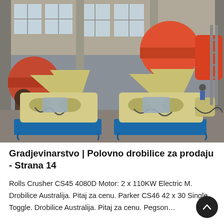[Figure (photo): Industrial factory floor with two large yellow roll crushers mounted on blue metal bases, secured with chains; large red ball mills and other heavy machinery visible in background warehouse setting.]
Gradjevinarstvo | Polovno drobilice za prodaju - Strana 14
Rolls Crusher CS45 4080D Motor: 2 x 110KW Electric M. Drobilice Australija. Pitaj za cenu. Parker CS46 42 x 30 Single Toggle. Drobilice Australija. Pitaj za cenu. Pegson…